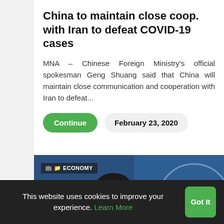China to maintain close coop. with Iran to defeat COVID-19 cases
MNA – Chinese Foreign Ministry's official spokesman Geng Shuang said that China will maintain close communication and cooperation with Iran to defeat...
Continue | February 23, 2020
[Figure (photo): Photo of Chinese Foreign Ministry spokesman Geng Shuang at a press conference, with Chinese characters and the word 'Ministry' visible in the background. An 'ECONOMY' label overlays the top-left of the image.]
This website uses cookies to improve your experience. Learn More